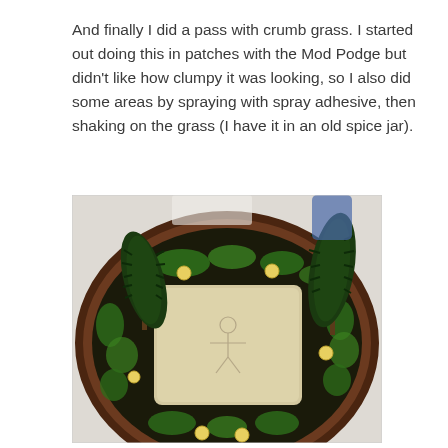And finally I did a pass with crumb grass. I started out doing this in patches with the Mod Podge but didn't like how clumpy it was looking, so I also did some areas by spraying with spray adhesive, then shaking on the grass (I have it in an old spice jar).
[Figure (photo): A craft project photo showing a wood slice base decorated with dark crumb grass/flock around the border forming a square ring, with green moss-like material and small yellow wood slice dots. Two miniature dark green bottle brush trees are placed on the left and right sides. The center of the wood slice shows a light sandy/beige area with a faint pencil sketch of a small figure. The project sits on a white table surface with craft supplies visible in the background.]